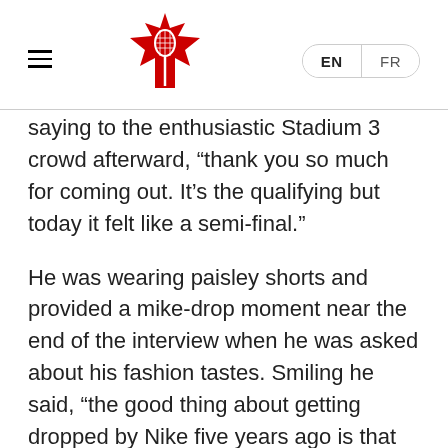Tennis Canada navigation header with logo and EN/FR language switcher
saying to the enthusiastic Stadium 3 crowd afterward, “thank you so much for coming out. It’s the qualifying but today it felt like a semi-final.”
He was wearing paisley shorts and provided a mike-drop moment near the end of the interview when he was asked about his fashion tastes. Smiling he said, “the good thing about getting dropped by Nike five years ago is that you can choose what you want to wear now.”